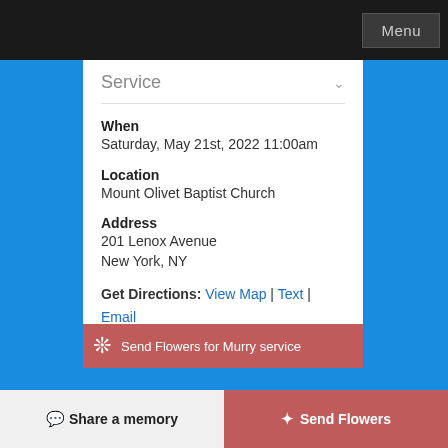Menu
Service
When
Saturday, May 21st, 2022 11:00am
Location
Mount Olivet Baptist Church
Address
201 Lenox Avenue
New York, NY
Get Directions: View Map | Text | Email
Send Flowers for Murry service
Share a memory
Send Flowers